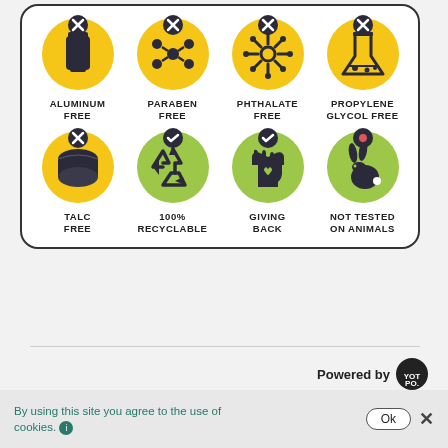[Figure (infographic): Product attribute icons grid: Aluminum Free (yellow circle, X badge, deodorant icon), Paraben Free (yellow circle, X badge, molecule icon), Phthalate Free (yellow circle, X badge, molecule icon), Propylene Glycol Free (yellow circle, X badge, flask icon), Talc Free (yellow circle, X badge, rolled product icon), 100% Recyclable (green circle, checkmark badge, recycle arrows icon), Giving Back (green circle, checkmark badge, hand with heart icon), Not Tested On Animals (green circle, heart badge, rabbit icon)]
Powered by [Yotpo logo]
[Figure (other): Half purple donut/arc chart partially visible at top right]
4.0 ★★★★★
By using this site you agree to the use of cookies. ℹ  Ok  ✕